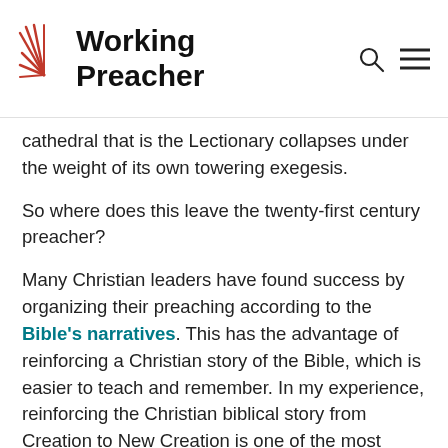Working Preacher
cathedral that is the Lectionary collapses under the weight of its own towering exegesis.
So where does this leave the twenty-first century preacher?
Many Christian leaders have found success by organizing their preaching according to the Bible's narratives. This has the advantage of reinforcing a Christian story of the Bible, which is easier to teach and remember. In my experience, reinforcing the Christian biblical story from Creation to New Creation is one of the most effective ways of